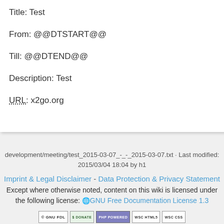Title: Test
From: @@DTSTART@@
Till: @@DTEND@@
Description: Test
URL: x2go.org
development/meeting/test_2015-03-07_-_-_2015-03-07.txt · Last modified: 2015/03/04 18:04 by h1
Imprint & Legal Disclaimer - Data Protection & Privacy Statement
Except where otherwise noted, content on this wiki is licensed under the following license: GNU Free Documentation License 1.3